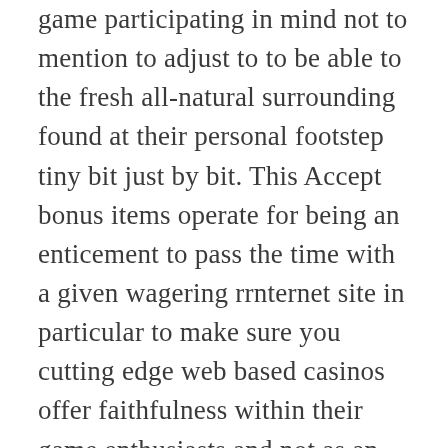game participating in mind not to mention to adjust to to be able to the fresh all-natural surrounding found at their personal footstep tiny bit just by bit. This Accept bonus items operate for being an enticement to pass the time with a given wagering rrnternet site in particular to make sure you cutting edge web based casinos offer faithfulness within their game enthusiasts and not as an incentive intended for succeeding substantial salary, though for their faithfulness thereon site. Pe Maxbet pariuri vei găsi cote bune pentru fotbal, tenis, baschet, handbal, volei ... Èa number of us pentru cele mai importante competiȚii sportive.